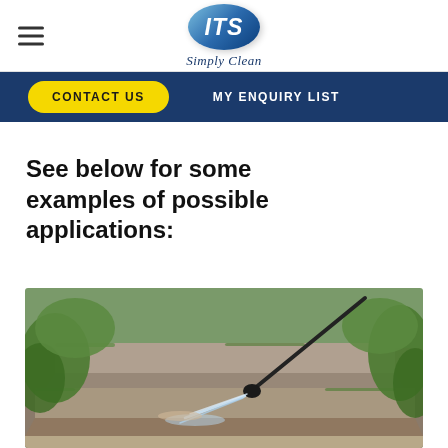ITS Simply Clean — navigation header with logo and hamburger menu
CONTACT US
MY ENQUIRY LIST
See below for some examples of possible applications:
[Figure (photo): A pressure washer lance cleaning moss-covered stone steps outdoors, with green foliage visible on either side.]